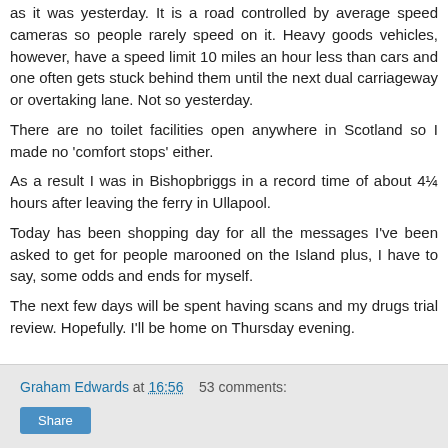as it was yesterday. It is a road controlled by average speed cameras so people rarely speed on it. Heavy goods vehicles, however, have a speed limit 10 miles an hour less than cars and one often gets stuck behind them until the next dual carriageway or overtaking lane. Not so yesterday.
There are no toilet facilities open anywhere in Scotland so I made no 'comfort stops' either.
As a result I was in Bishopbriggs in a record time of about 4¼ hours after leaving the ferry in Ullapool.
Today has been shopping day for all the messages I've been asked to get for people marooned on the Island plus, I have to say, some odds and ends for myself.
The next few days will be spent having scans and my drugs trial review. Hopefully. I'll be home on Thursday evening.
Graham Edwards at 16:56   53 comments:   Share